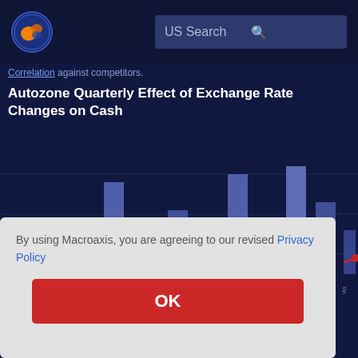[Figure (logo): Macroaxis globe logo — orange and blue circular globe icon]
US Search
Correlation against competitors.
Autozone Quarterly Effect of Exchange Rate Changes on Cash
[Figure (bar-chart): Bar chart showing quarterly exchange rate effect on cash with blue/purple bars across multiple quarters, partially obscured by modal dialog. Red line/dot visible at right edge.]
By using Macroaxis, you are agreeing to our revised Privacy Policy
OK